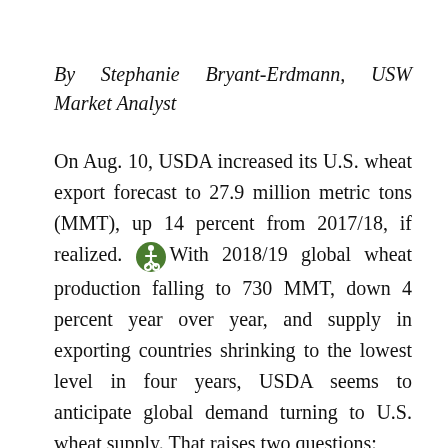By Stephanie Bryant-Erdmann, USW Market Analyst
On Aug. 10, USDA increased its U.S. wheat export forecast to 27.9 million metric tons (MMT), up 14 percent from 2017/18, if realized. With 2018/19 global wheat production falling to 730 MMT, down 4 percent year over year, and supply in exporting countries shrinking to the lowest level in four years, USDA seems to anticipate global demand turning to U.S. wheat supply. That raises two questions:
Is there that much demand for U.S. wheat